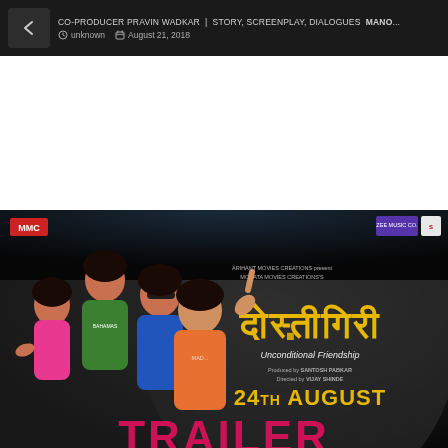CO-PRODUCER PRAVIN WADKAR | STORY, SCREENPLAY, DIALOGUES MANO...
Unknown  August 21, 2018
[Figure (photo): Movie promotional poster for 'Dostigiri' (Unconditional Friendship) showing four young people laughing and posing outdoors with a dark rocky background. The poster shows Hindi title text in gold, subtitle 'Unconditional Friendship', release date '24TH AUGUST', and 'TRAILER' text at bottom. Produced by Santosh Pabkar, directed by Vijay Shinde. MMC logo top left, Zee Music Co. logo top right.]